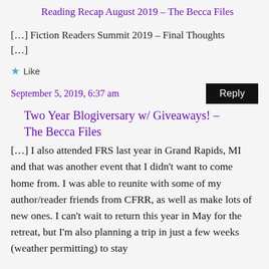Reading Recap August 2019 – The Becca Files
[…] Fiction Readers Summit 2019 – Final Thoughts […]
Like
September 5, 2019, 6:37 am
Two Year Blogiversary w/ Giveaways! – The Becca Files
[…] I also attended FRS last year in Grand Rapids, MI and that was another event that I didn't want to come home from. I was able to reunite with some of my author/reader friends from CFRR, as well as make lots of new ones. I can't wait to return this year in May for the retreat, but I'm also planning a trip in just a few weeks (weather permitting) to stay with…